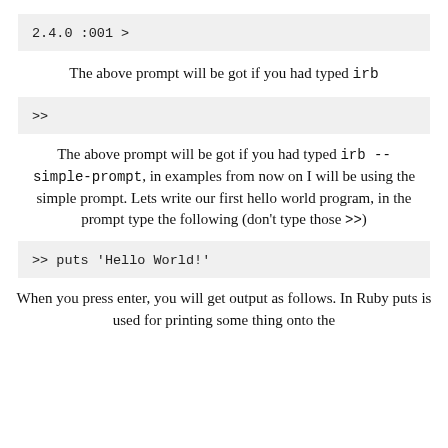[Figure (screenshot): Code block showing: 2.4.0 :001 >]
The above prompt will be got if you had typed irb
[Figure (screenshot): Code block showing: >>]
The above prompt will be got if you had typed irb --simple-prompt, in examples from now on I will be using the simple prompt. Lets write our first hello world program, in the prompt type the following (don't type those >>)
[Figure (screenshot): Code block showing: >> puts 'Hello World!']
When you press enter, you will get output as follows. In Ruby puts is used for printing some thing onto the